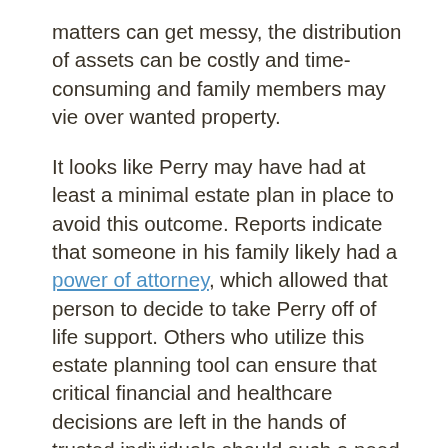matters can get messy, the distribution of assets can be costly and time-consuming and family members may vie over wanted property.
It looks like Perry may have had at least a minimal estate plan in place to avoid this outcome. Reports indicate that someone in his family likely had a power of attorney, which allowed that person to decide to take Perry off of life support. Others who utilize this estate planning tool can ensure that critical financial and healthcare decisions are left in the hands of trusted individuals should such a need arise. Failing to have this document in place could lead to the matter being argued over in court by family members who may have differing opinions about how the matter should be addressed.
Perry also had a will created in 2015, which purportedly